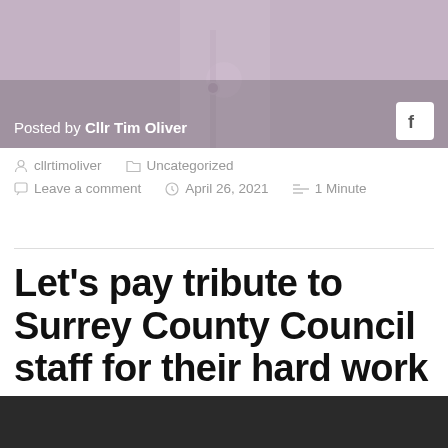[Figure (photo): Hero image showing a person in a light purple/lavender shirt, partially visible from shoulders down. Facebook icon in top right corner. Overlay text reads 'Posted by Cllr Tim Oliver']
cllrtimoliver   Uncategorized
Leave a comment   April 26, 2021   1 Minute
Let's pay tribute to Surrey County Council staff for their hard work during the pandemic
[Figure (photo): Bottom dark image, partially visible, dark/black background]